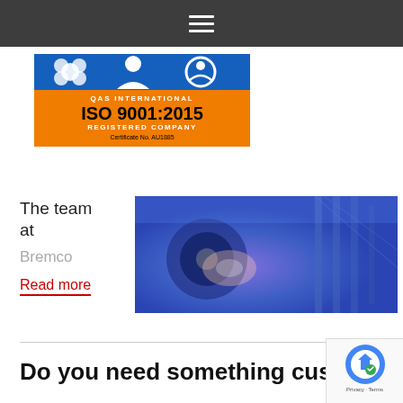[Figure (screenshot): Dark navigation bar with hamburger menu icon (three horizontal white lines)]
[Figure (logo): QAS International ISO 9001:2015 Registered Company certification badge. Blue top section with QAS logo, orange bottom with text: QAS INTERNATIONAL, ISO 9001:2015, REGISTERED COMPANY, Certificate No. AU1885]
The team at
Bremco
Read more
[Figure (photo): Industrial welding or manufacturing photo with blue light tones, showing machinery and equipment]
Do you need something custom